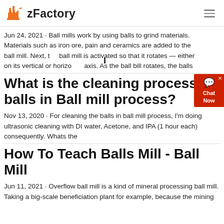zFactory
Jun 24, 2021 · Ball mills work by using balls to grind materials. Materials such as iron ore, pain and ceramics are added to the ball mill. Next, the ball mill is activated so that it rotates — either on its vertical or horizontal axis. As the ball bill rotates, the balls
What is the cleaning process for balls in Ball mill process?
Nov 13, 2020 · For cleaning the balls in ball mill process, I'm doing ultrasonic cleaning with DI water, Acetone, and IPA (1 hour each) consequently. Whats the
How To Teach Balls Mill - Ball Mill
Jun 11, 2021 · Overflow ball mill is a kind of mineral processing ball mill. Taking a big-scale beneficiation plant for example, because the mining